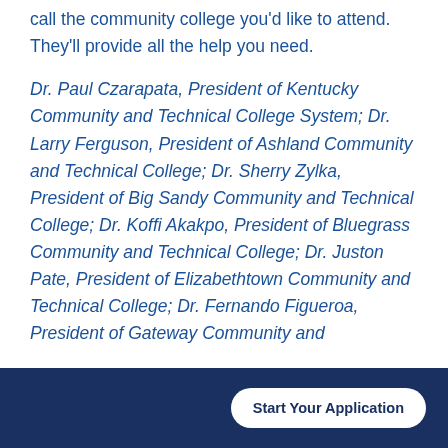call the community college you'd like to attend. They'll provide all the help you need.
Dr. Paul Czarapata, President of Kentucky Community and Technical College System; Dr. Larry Ferguson, President of Ashland Community and Technical College; Dr. Sherry Zylka, President of Big Sandy Community and Technical College; Dr. Koffi Akakpo, President of Bluegrass Community and Technical College; Dr. Juston Pate, President of Elizabethtown Community and Technical College; Dr. Fernando Figueroa, President of Gateway Community and
Start Your Application